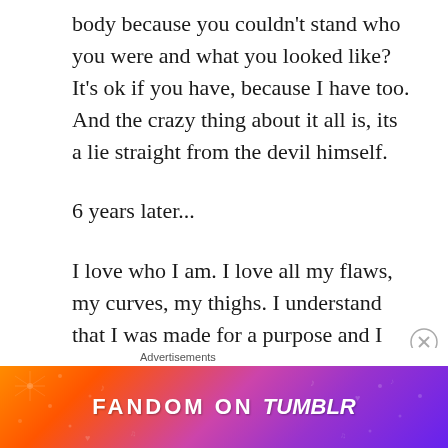body because you couldn't stand who you were and what you looked like? It's ok if you have, because I have too. And the crazy thing about it all is, its a lie straight from the devil himself.
6 years later...
I love who I am. I love all my flaws, my curves, my thighs. I understand that I was made for a purpose and I was not a mistake. I rejoice now because I understand that I am fearfully and
[Figure (infographic): Tumblr advertisement banner reading 'FANDOM ON tumblr' with colorful gradient background in orange, pink, and purple with decorative doodles]